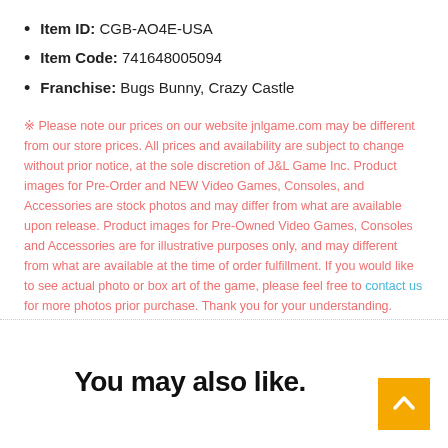Item ID: CGB-AO4E-USA
Item Code: 741648005094
Franchise: Bugs Bunny, Crazy Castle
※ Please note our prices on our website jnlgame.com may be different from our store prices. All prices and availability are subject to change without prior notice, at the sole discretion of J&L Game Inc. Product images for Pre-Order and NEW Video Games, Consoles, and Accessories are stock photos and may differ from what are available upon release. Product images for Pre-Owned Video Games, Consoles and Accessories are for illustrative purposes only, and may different from what are available at the time of order fulfillment. If you would like to see actual photo or box art of the game, please feel free to contact us for more photos prior purchase. Thank you for your understanding.
You may also like.